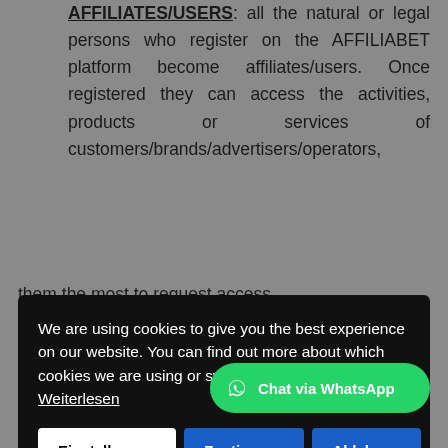AFFILIATES/USERS: all the natural or legal persons who register on the AFFILIABET platform become affiliates/users. Once registered they can access the activities, products or services of customers/brands/advertisers/operators,
[Figure (screenshot): Cookie consent modal with dark background. Text reads: 'We are using cookies to give you the best experience on our website. You can find out more about which cookies we are using or switch them off in Weiterlesen'. Three buttons: Einstellungen (white), Zustimmen (blue), Ablehnen (blue).]
them the most to request access, promotion and diffusion of the products or services that clients/brands/advertisers/operators have active on the platform, to offer it to potential players/end customers
[Figure (screenshot): WhatsApp chat button overlay at bottom right: green pill button with WhatsApp logo and text 'Chat via WhatsApp']